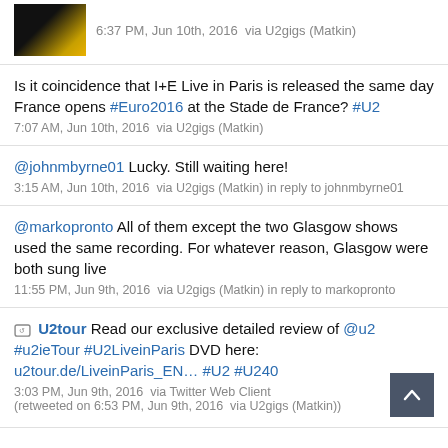[Figure (photo): Thumbnail image of people, partially visible at top-left]
6:37 PM, Jun 10th, 2016  via U2gigs (Matkin)
Is it coincidence that I+E Live in Paris is released the same day France opens #Euro2016 at the Stade de France? #U2
7:07 AM, Jun 10th, 2016  via U2gigs (Matkin)
@johnmbyrne01 Lucky. Still waiting here!
3:15 AM, Jun 10th, 2016  via U2gigs (Matkin) in reply to johnmbyrne01
@markopronto All of them except the two Glasgow shows used the same recording. For whatever reason, Glasgow were both sung live
11:55 PM, Jun 9th, 2016  via U2gigs (Matkin) in reply to markopronto
U2tour Read our exclusive detailed review of @u2 #u2ieTour #U2LiveinParis DVD here: u2tour.de/LiveinParis_EN... #U2 #U240
3:03 PM, Jun 9th, 2016  via Twitter Web Client
(retweeted on 6:53 PM, Jun 9th, 2016  via U2gigs (Matkin))